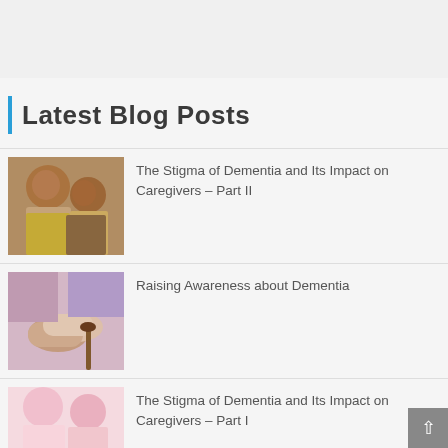Latest Blog Posts
[Figure (photo): Two elderly people, one appearing distressed, close-up portrait]
The Stigma of Dementia and Its Impact on Caregivers – Part II
[Figure (photo): Hands of an elderly person being held by a caregiver, holding a cane]
Raising Awareness about Dementia
[Figure (photo): Partial view of a caregiver and patient, pink tones]
The Stigma of Dementia and Its Impact on Caregivers – Part I